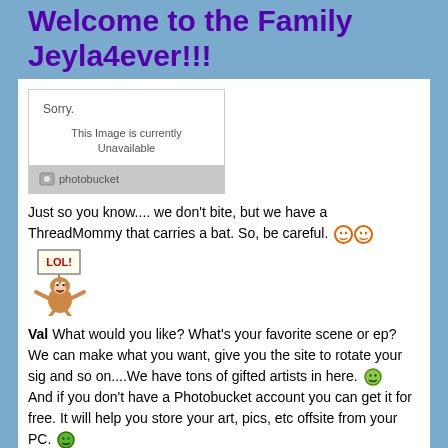Welcome to the Family Jeyla4ever!!!
[Figure (screenshot): Photobucket image placeholder showing 'Sorry. This Image is currently Unavailable' with Photobucket logo]
Just so you know.... we don't bite, but we have a ThreadMommy that carries a bat. So, be careful. 😊😊
[Figure (illustration): LOL monkey pixel art illustration]
Val What would you like? What's your favorite scene or ep? We can make what you want, give you the site to rotate your sig and so on....We have tons of gifted artists in here. 😄 And if you don't have a Photobucket account you can get it for free. It will help you store your art, pics, etc offsite from your PC. 😄